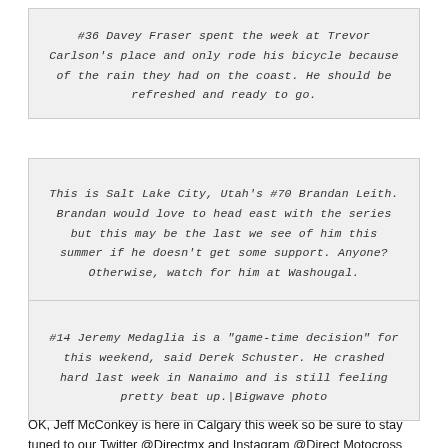#36 Davey Fraser spent the week at Trevor Carlson's place and only rode his bicycle because of the rain they had on the coast. He should be refreshed and ready to go.
This is Salt Lake City, Utah's #70 Brandan Leith. Brandan would love to head east with the series but this may be the last we see of him this summer if he doesn't get some support. Anyone? Otherwise, watch for him at Washougal.
#14 Jeremy Medaglia is a "game-time decision" for this weekend, said Derek Schuster. He crashed hard last week in Nanaimo and is still feeling pretty beat up.|Bigwave photo
OK, Jeff McConkey is here in Calgary this week so be sure to stay tuned to our Twitter @Directmx and Instagram @Direct Motocross for lots of updates on all the action from the Men's and Women's 3rd round at Wild Rose MX Park.